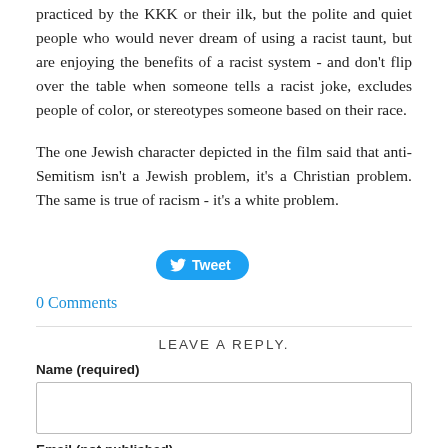practiced by the KKK or their ilk, but the polite and quiet people who would never dream of using a racist taunt, but are enjoying the benefits of a racist system - and don't flip over the table when someone tells a racist joke, excludes people of color, or stereotypes someone based on their race.
The one Jewish character depicted in the film said that anti-Semitism isn't a Jewish problem, it's a Christian problem. The same is true of racism - it's a white problem.
[Figure (other): Twitter Tweet button]
0 Comments
LEAVE A REPLY.
Name (required)
[Figure (other): Text input field for Name]
Email (not published)